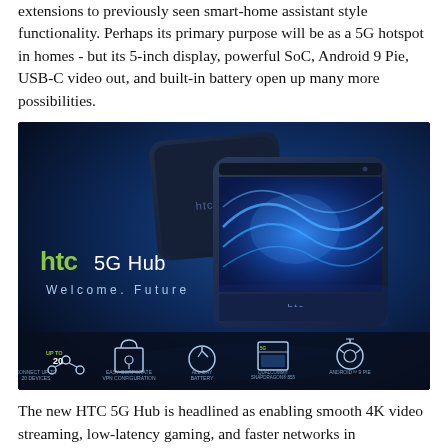extensions to previously seen smart-home assistant style functionality. Perhaps its primary purpose will be as a 5G hotspot in homes - but its 5-inch display, powerful SoC, Android 9 Pie, USB-C video out, and built-in battery open up many more possibilities.
[Figure (photo): HTC 5G Hub promotional image showing two HTC 5G Hub devices — one facing back and one front-facing with a blue-lit display showing wave graphics. Text reads 'htc 5G Hub' and 'Welcome. Future'. Bottom icons show: Connect up to 20 devices, Easy corporate VPN configuration, All-day battery, Qualcomm Snapdragon 855, Android 9 Pie.]
The new HTC 5G Hub is headlined as enabling smooth 4K video streaming, low-latency gaming, and faster networks in